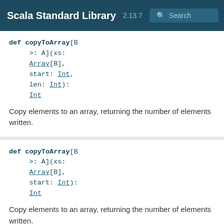Scala Standard Library 2.13.7 Search
def copyToArray[B >: A](xs: Array[B], start: Int, len: Int): Int
Copy elements to an array, returning the number of elements written.
def copyToArray[B >: A](xs: Array[B], start: Int): Int
Copy elements to an array, returning the number of elements written.